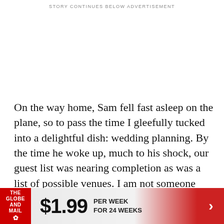STORY CONTINUES BELOW ADVERTISEMENT
On the way home, Sam fell fast asleep on the plane, so to pass the time I gleefully tucked into a delightful dish: wedding planning. By the time he woke up, much to his shock, our guest list was nearing completion as was a list of possible venues. I am not someone who has dreamt of my wedding since childhood. I have, however, always “loved
[Figure (infographic): The Globe and Mail subscription advertisement banner: logo on left, $1.99 price, PER WEEK FOR 24 WEEKS text, and arrow on right]